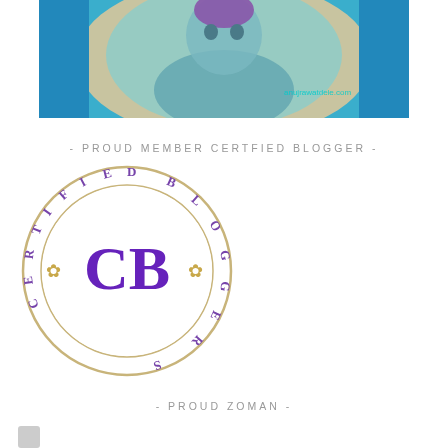[Figure (illustration): Cartoon illustration of a character viewed through a circular window or portal, with blue border frame, teal/blue tones, and a watermark text 'anujrawatdele.com' in cyan]
- PROUD MEMBER CERTFIED BLOGGER -
[Figure (logo): Certified Blogger circular badge/seal with outer ring text reading 'CERTIFIED BLOGGER' arranged in a circle, two decorative snowflake/asterisk gold ornaments, and large purple 'CB' letters in the center on white background with gold/tan circle border]
- PROUD ZOMAN -
[Figure (logo): Small partially visible square icon at bottom left]